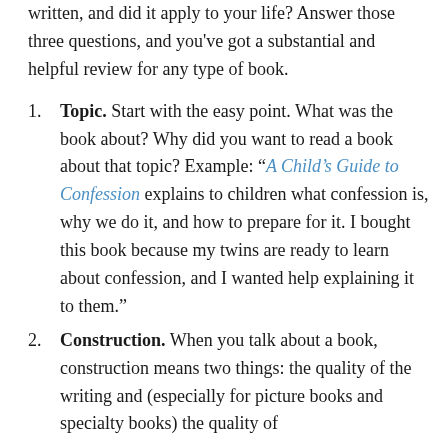written, and did it apply to your life? Answer those three questions, and you've got a substantial and helpful review for any type of book.
Topic. Start with the easy point. What was the book about? Why did you want to read a book about that topic? Example: “A Child’s Guide to Confession explains to children what confession is, why we do it, and how to prepare for it. I bought this book because my twins are ready to learn about confession, and I wanted help explaining it to them.”
Construction. When you talk about a book, construction means two things: the quality of the writing and (especially for picture books and specialty books) the quality of